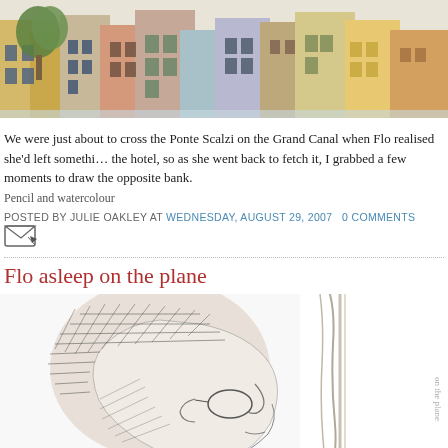[Figure (illustration): Watercolour painting of colourful buildings along a canal bank in Venice, serving as a blog header banner image]
We were just about to cross the Ponte Scalzi on the Grand Canal when Flo realised she'd left something at the hotel, so as she went back to fetch it, I grabbed a few moments to draw the opposite bank.
Pencil and watercolour
POSTED BY JULIE OAKLEY AT WEDNESDAY, AUGUST 29, 2007   0 COMMENTS
[Figure (illustration): Small email/forward icon button]
Flo asleep on the plane
[Figure (illustration): Pencil sketch drawing of a person (Flo) asleep on a plane, shown in profile view with head tilted back, rendered in detailed crosshatching style]